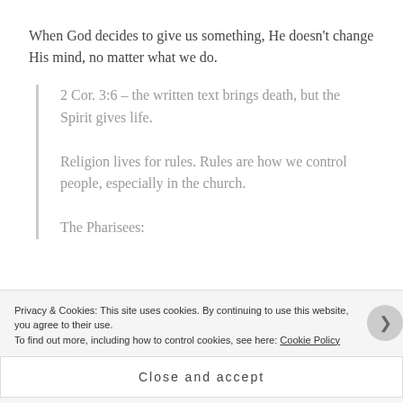When God decides to give us something, He doesn’t change His mind, no matter what we do.
2 Cor. 3:6 – the written text brings death, but the Spirit gives life.
Religion lives for rules. Rules are how we control people, especially in the church.
The Pharisees:
Privacy & Cookies: This site uses cookies. By continuing to use this website, you agree to their use. To find out more, including how to control cookies, see here: Cookie Policy
Close and accept